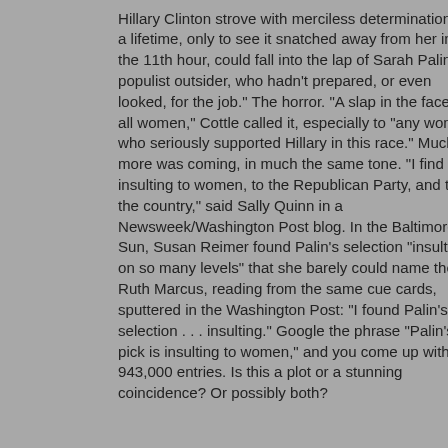Hillary Clinton strove with merciless determination for a lifetime, only to see it snatched away from her in the 11th hour, could fall into the lap of Sarah Palin, a populist outsider, who hadn't prepared, or even looked, for the job." The horror. "A slap in the face to all women," Cottle called it, especially to "any woman who seriously supported Hillary in this race." Much more was coming, in much the same tone. "I find it insulting to women, to the Republican Party, and to the country," said Sally Quinn in a Newsweek/Washington Post blog. In the Baltimore Sun, Susan Reimer found Palin's selection "insulting on so many levels" that she barely could name them. Ruth Marcus, reading from the same cue cards, sputtered in the Washington Post: "I found Palin's selection . . . insulting." Google the phrase "Palin's pick is insulting to women," and you come up with 943,000 entries. Is this a plot or a stunning coincidence? Or possibly both?